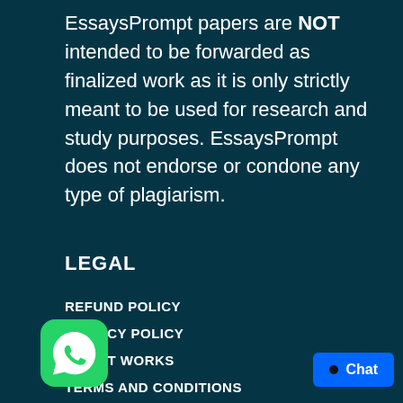EssaysPrompt papers are NOT intended to be forwarded as finalized work as it is only strictly meant to be used for research and study purposes. EssaysPrompt does not endorse or condone any type of plagiarism.
LEGAL
REFUND POLICY
PRIVACY POLICY
HOW IT WORKS
TERMS AND CONDITIONS
[Figure (logo): WhatsApp icon — green rounded square with white phone handset in speech bubble]
[Figure (other): Blue chat button with black dot and 'Chat' text]